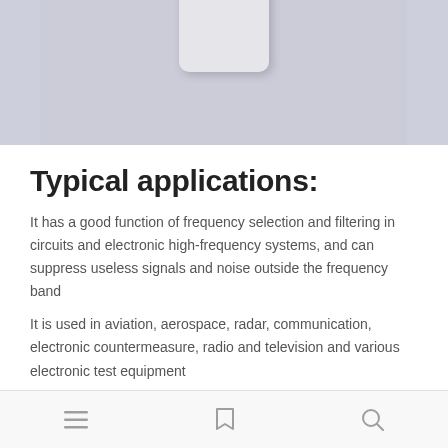[Figure (photo): Photo of an electronic component (ceramic filter or crystal) on a light purple/grey background]
Typical applications:
It has a good function of frequency selection and filtering in circuits and electronic high-frequency systems, and can suppress useless signals and noise outside the frequency band
It is used in aviation, aerospace, radar, communication, electronic countermeasure, radio and television and various electronic test equipment